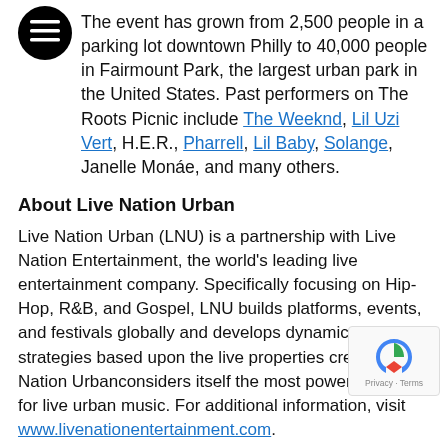The event has grown from 2,500 people in a parking lot downtown Philly to 40,000 people in Fairmount Park, the largest urban park in the United States. Past performers on The Roots Picnic include The Weeknd, Lil Uzi Vert, H.E.R., Pharrell, Lil Baby, Solange, Janelle Monáe, and many others.
About Live Nation Urban
Live Nation Urban (LNU) is a partnership with Live Nation Entertainment, the world's leading live entertainment company. Specifically focusing on Hip-Hop, R&B, and Gospel, LNU builds platforms, events, and festivals globally and develops dynamic content strategies based upon the live properties created. Live Nation Urbanconsiders itself the most powerful source for live urban music. For additional information, visit www.livenationentertainment.com.
About When We All Vote